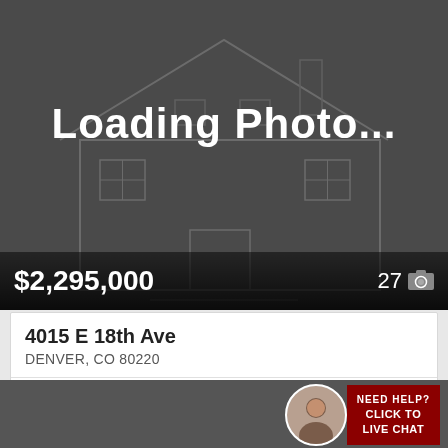[Figure (photo): Loading photo placeholder with house outline silhouette on dark gray background]
$2,295,000
27 📷
4015 E 18th Ave
DENVER, CO 80220
South Park Hill
6 Beds
2F 43/4 Baths
5,050 Sq.Ft.
303 Realty
[Figure (screenshot): Need Help? Click to Live Chat widget with agent photo]